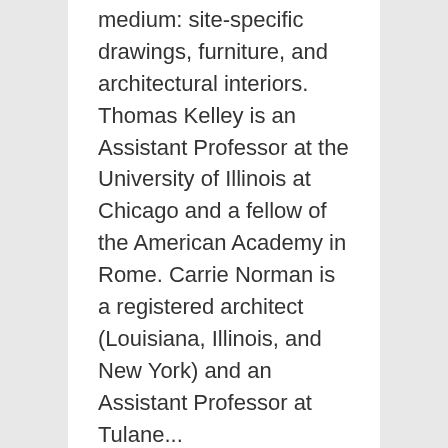medium: site-specific drawings, furniture, and architectural interiors. Thomas Kelley is an Assistant Professor at the University of Illinois at Chicago and a fellow of the American Academy in Rome. Carrie Norman is a registered architect (Louisiana, Illinois, and New York) and an Assistant Professor at Tulane...
Beate Hølmebakk, "Constructions on Sites and Bound"